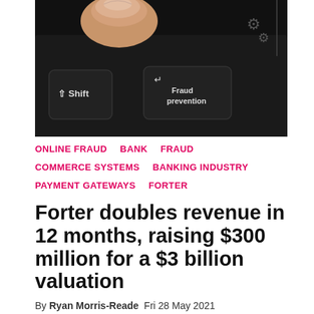[Figure (photo): Close-up of a computer keyboard with a dark key labeled 'Fraud prevention' with an enter arrow icon, and a 'Shift' key visible. A finger is pressing a key at the top. Gear icons visible in upper right corner.]
ONLINE FRAUD
BANK
FRAUD
COMMERCE SYSTEMS
BANKING INDUSTRY
PAYMENT GATEWAYS
FORTER
Forter doubles revenue in 12 months, raising $300 million for a $3 billion valuation
By Ryan Morris-Reade  Fri 28 May 2021